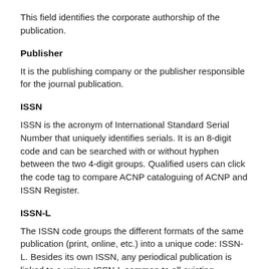This field identifies the corporate authorship of the publication.
Publisher
It is the publishing company or the publisher responsible for the journal publication.
ISSN
ISSN is the acronym of International Standard Serial Number that uniquely identifies serials. It is an 8-digit code and can be searched with or without hyphen between the two 4-digit groups. Qualified users can click the code tag to compare ACNP cataloguing of ACNP and ISSN Register.
ISSN-L
The ISSN code groups the different formats of the same publication (print, online, etc.) into a unique code: ISSN-L. Besides its own ISSN, any periodical publication is linked to a unique ISSN-L common to all existing formats.